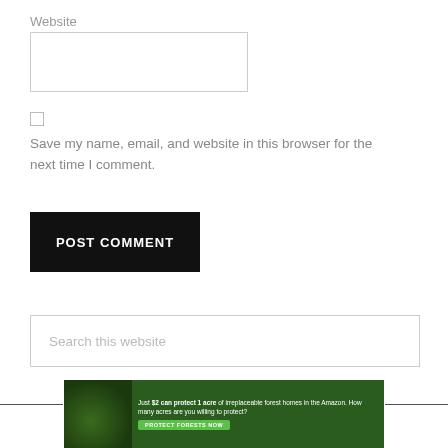Website
[Figure (screenshot): Empty text input field for Website URL]
[Figure (screenshot): Unchecked checkbox]
Save my name, email, and website in this browser for the next time I comment.
[Figure (screenshot): POST COMMENT button, black background with white uppercase text]
[Figure (screenshot): Search this website input field with placeholder text]
[Figure (infographic): Green Amazon forest banner advertisement: 'Just $2 can protect 1 acre of irreplaceable forest homes in the Amazon. How many acres are you willing to protect?' with 'PROTECT FORESTS NOW' green button]